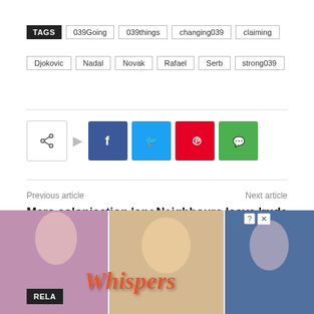TAGS  039Going  039things  changing039  claiming  Djokovic  Nadal  Novak  Rafael  Serb  strong039
[Figure (screenshot): Share buttons row: share icon, Facebook (blue), Twitter (cyan), Pinterest (red), WhatsApp (green)]
Previous article
Next article
Mars colonisation 'one step closer' as Martian building blocks created using urine
Neighbours leave 'rude note' on car for parking across two spaces even though she can
[Figure (photo): Advertisement overlay showing Whispers game with romantic illustrated characters and 'RELA' label box in lower left]